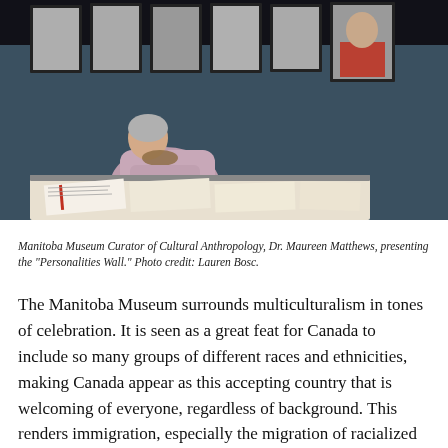[Figure (photo): A museum visitor (Dr. Maureen Matthews) leaning over a display case examining documents, with a wall of framed black-and-white portrait photographs visible in the background. The setting is the Manitoba Museum's Personalities Wall exhibit. The scene is dimly lit with dark blue-grey walls.]
Manitoba Museum Curator of Cultural Anthropology, Dr. Maureen Matthews, presenting the "Personalities Wall." Photo credit: Lauren Bosc.
The Manitoba Museum surrounds multiculturalism in tones of celebration. It is seen as a great feat for Canada to include so many groups of different races and ethnicities, making Canada appear as this accepting country that is welcoming of everyone, regardless of background. This renders immigration, especially the migration of racialized peoples, as a positive process as it only adds to the country's diversity. The museum also seems to suggest that although Canada contains people of different racial, ethnic, and cultural backgrounds, these